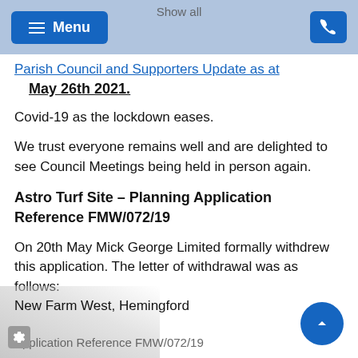Show all
Parish Council and Supporters Update as at May 26th 2021.
Covid-19 as the lockdown eases.
We trust everyone remains well and are delighted to see Council Meetings being held in person again.
Astro Turf Site – Planning Application Reference FMW/072/19
On 20th May Mick George Limited formally withdrew this application. The letter of withdrawal was as follows:
New Farm West, Hemingford
Application Reference FMW/072/19